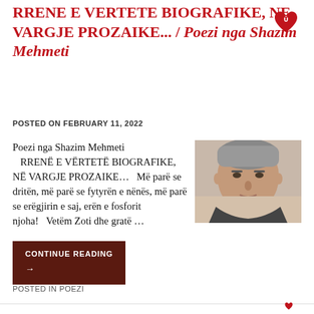RRENE E VERTETE BIOGRAFIKE, NE VARGJE PROZAIKE... / Poezi nga Shazim Mehmeti
POSTED ON FEBRUARY 11, 2022
[Figure (photo): Portrait photo of a middle-aged man with short grey hair against a light background]
Poezi nga Shazim Mehmeti RRENË E VËRTETË BIOGRAFIKE, NË VARGJE PROZAIKE...   Më parë se dritën, më parë se fytyrën e nënës, më parë se erëgjirin e saj, erën e fosforit njoha!   Vetëm Zoti dhe gratë ...
CONTINUE READING →
POSTED IN POEZI